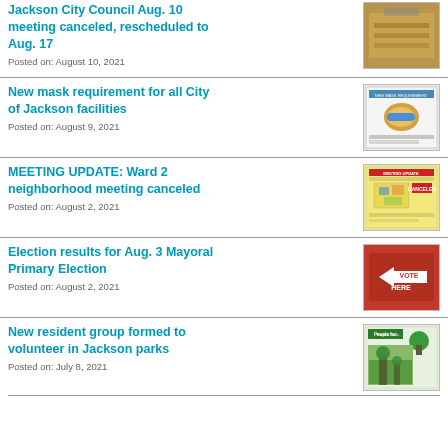Jackson City Council Aug. 10 meeting canceled, rescheduled to Aug. 17
Posted on: August 10, 2021
[Figure (photo): Interior of a meeting room or council chamber]
New mask requirement for all City of Jackson facilities
Posted on: August 9, 2021
[Figure (photo): Mask requirement notice/flyer for City of Jackson facilities]
MEETING UPDATE: Ward 2 neighborhood meeting canceled
Posted on: August 2, 2021
[Figure (photo): Ward 2 neighborhood meeting canceled flyer with map]
Election results for Aug. 3 Mayoral Primary Election
Posted on: August 2, 2021
[Figure (photo): Vote Here sign with arrow on red background]
New resident group formed to volunteer in Jackson parks
Posted on: July 8, 2021
[Figure (photo): People for Parks and Trails brochure with tree and park image]